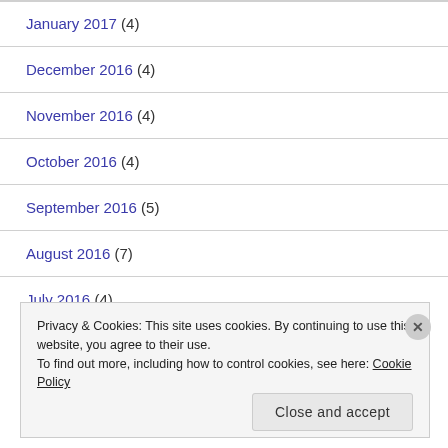January 2017 (4)
December 2016 (4)
November 2016 (4)
October 2016 (4)
September 2016 (5)
August 2016 (7)
July 2016 (4)
Privacy & Cookies: This site uses cookies. By continuing to use this website, you agree to their use.
To find out more, including how to control cookies, see here: Cookie Policy
Close and accept